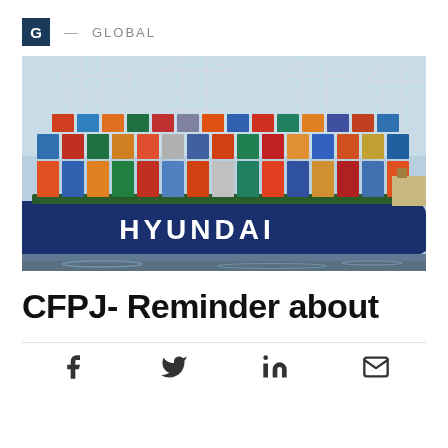G — GLOBAL
[Figure (photo): A large Hyundai container ship loaded with multicolored shipping containers docked at a port with tall cranes in the background. The word HYUNDAI is written in large white letters on the hull of the blue ship.]
CFPJ- Reminder about
[Figure (infographic): Social sharing icons: Facebook, Twitter/X, LinkedIn, Email]